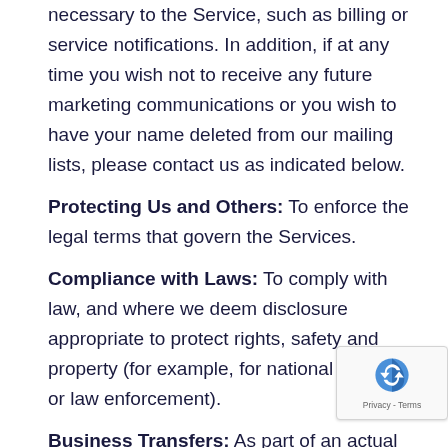necessary to the Service, such as billing or service notifications. In addition, if at any time you wish not to receive any future marketing communications or you wish to have your name deleted from our mailing lists, please contact us as indicated below.
Protecting Us and Others: To enforce the legal terms that govern the Services.
Compliance with Laws: To comply with law, and where we deem disclosure appropriate to protect rights, safety and property (for example, for national security or law enforcement).
Business Transfers: As part of an actual or contemplated business sale, merger, consolidation, change in control, transfer of substantial assets or